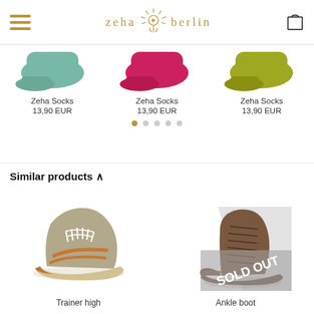[Figure (logo): Zeha Berlin logo with hamburger menu and shopping bag icon in header]
[Figure (photo): Three Zeha socks products shown: teal/mint, magenta/pink, and olive/yellow-green colored socks]
Zeha Socks
13,90 EUR
Zeha Socks
13,90 EUR
Zeha Socks
13,90 EUR
Similar products ^
[Figure (photo): Trainer high - brown and grey tweed high-top sneaker with white laces]
[Figure (photo): Ankle boot - brown leather lace-up ankle boot with SOLD OUT overlay badge]
Trainer high
Ankle boot